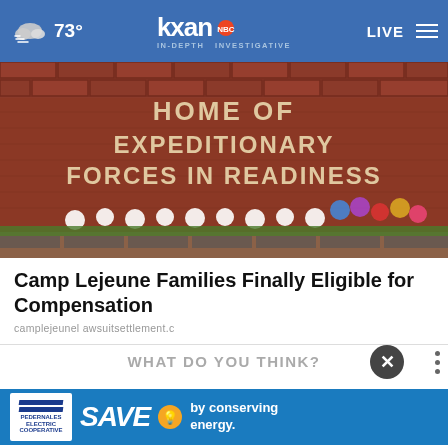73° kxan IN-DEPTH INVESTIGATIVE LIVE
[Figure (photo): Brick wall at Camp Lejeune reading HOME OF EXPEDITIONARY FORCES IN READINESS with white flower wreaths and colorful flower arrangements placed along the base]
Camp Lejeune Families Finally Eligible for Compensation
camplejeunel awsuitsettlement.c
WHAT DO YOU THINK?
Follow… specific… falls?
[Figure (other): Pedernales Electric Cooperative advertisement banner: SAVE by conserving energy.]